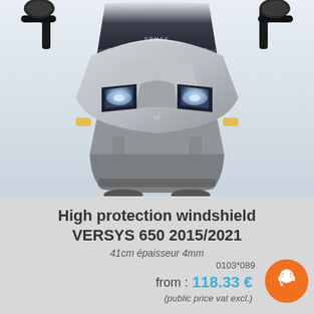[Figure (photo): Close-up front view of a Kawasaki Versys 650 motorcycle showing the windshield, headlights, and front fairing against a white/grey background]
High protection windshield VERSYS 650 2015/2021
41cm épaisseur 4mm
0103*089
from : 118.33 €
(public price vat excl.)